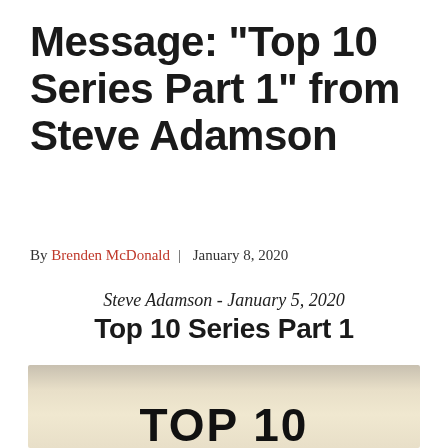Message: “Top 10 Series Part 1” from Steve Adamson
By Brenden McDonald | January 8, 2020
Steve Adamson - January 5, 2020
Top 10 Series Part 1
[Figure (photo): Photo with 'TOP 10' text in bold black letters on a vintage/aged light background]